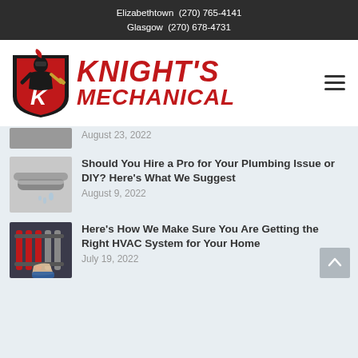Elizabethtown (270) 765-4141
Glasgow (270) 678-4731
[Figure (logo): Knight's Mechanical logo with knight in armor holding a wrench on a shield with letter K, and bold red italic text KNIGHT'S MECHANICAL]
August 23, 2022
Should You Hire a Pro for Your Plumbing Issue or DIY? Here's What We Suggest
August 9, 2022
Here's How We Make Sure You Are Getting the Right HVAC System for Your Home
July 19, 2022